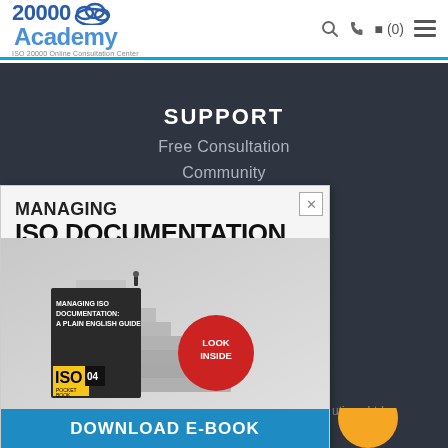20000 Academy — ISO 20000 Online Consultation Center | Search | Phone | Cart (0) | Menu
SUPPORT
Free Consultation
Community
MANAGING ISO DOCUMENTATION A Plain English Guide
[Figure (photo): Book cover of 'Managing ISO Documentation: A Plain English Guide' — ISO Pocket Book 04, showing stacked grey steps/books with business figures, and a red 'Look Inside' badge.]
DOWNLOAD E-BOOK